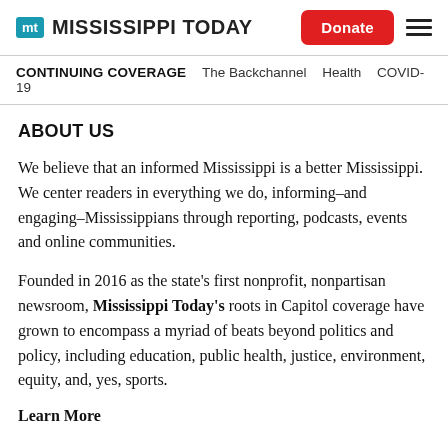MT MISSISSIPPI TODAY  Donate ☰
CONTINUING COVERAGE  The Backchannel  Health  COVID-19
ABOUT US
We believe that an informed Mississippi is a better Mississippi. We center readers in everything we do, informing–and engaging–Mississippians through reporting, podcasts, events and online communities.
Founded in 2016 as the state's first nonprofit, nonpartisan newsroom, Mississippi Today's roots in Capitol coverage have grown to encompass a myriad of beats beyond politics and policy, including education, public health, justice, environment, equity, and, yes, sports.
Learn More